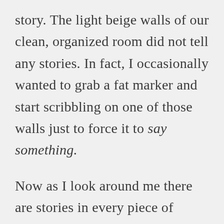story. The light beige walls of our clean, organized room did not tell any stories. In fact, I occasionally wanted to grab a fat marker and start scribbling on one of those walls just to force it to say something.
Now as I look around me there are stories in every piece of artwork, lessons in every toy, joy in every bead and button and bottle that enjoys its right to a space.